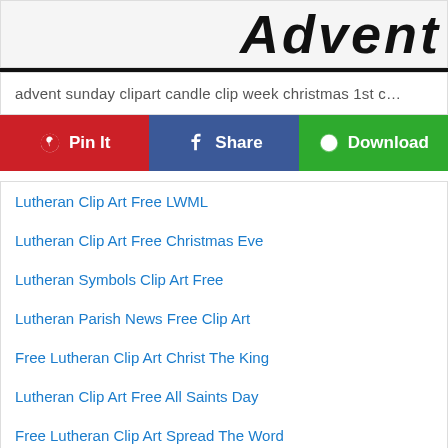[Figure (illustration): Partial header image with cursive/script text reading 'Advent' partially visible, on a light background with a thick black horizontal divider line below]
advent sunday clipart candle clip week christmas 1st c…
[Figure (infographic): Action bar with three buttons: Pinterest 'Pin It' (red), Facebook 'Share' (blue), and 'Download' (green)]
Lutheran Clip Art Free LWML
Lutheran Clip Art Free Christmas Eve
Lutheran Symbols Clip Art Free
Lutheran Parish News Free Clip Art
Free Lutheran Clip Art Christ The King
Lutheran Clip Art Free All Saints Day
Free Lutheran Clip Art Spread The Word
Lutheran Clip Art Free Trinity Sunday
Lutheran Clip Art Free Heaven